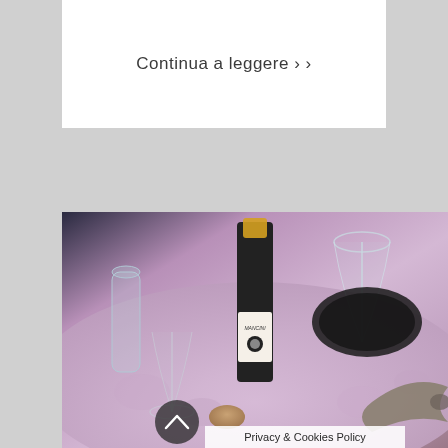Continua a leggere ›
[Figure (photo): A dining table scene with a wine bottle labeled Mancini, wine glasses, a black plate, a fish dish, and a floral tablecloth in pink/purple tones.]
Privacy & Cookies Policy